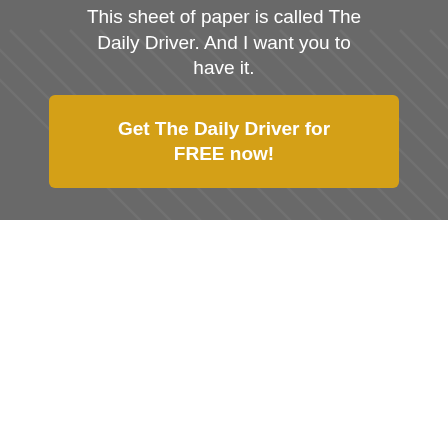This sheet of paper is called The Daily Driver. And I want you to have it.
[Figure (other): Yellow call-to-action button on dark grey diagonal-striped background with text 'Get The Daily Driver for FREE now!']
Doing the Right Things
by MIKE VARDY
The past week has been crazy. Very crazy. But a good kind of very crazy – because I've been able to